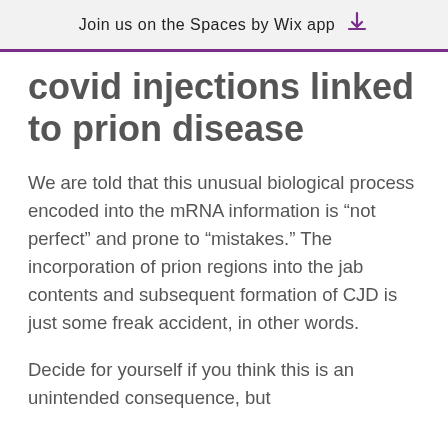Join us on the Spaces by Wix app
covid injections linked to prion disease
We are told that this unusual biological process encoded into the mRNA information is “not perfect” and prone to “mistakes.” The incorporation of prion regions into the jab contents and subsequent formation of CJD is just some freak accident, in other words.
Decide for yourself if you think this is an unintended consequence, but